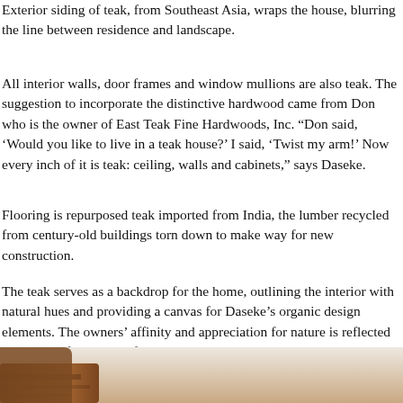Exterior siding of teak, from Southeast Asia, wraps the house, blurring the line between residence and landscape.
All interior walls, door frames and window mullions are also teak. The suggestion to incorporate the distinctive hardwood came from Don who is the owner of East Teak Fine Hardwoods, Inc. “Don said, ‘Would you like to live in a teak house?’ I said, ‘Twist my arm!’ Now every inch of it is teak: ceiling, walls and cabinets,” says Daseke.
Flooring is repurposed teak imported from India, the lumber recycled from century-old buildings torn down to make way for new construction.
The teak serves as a backdrop for the home, outlining the interior with natural hues and providing a canvas for Daseke’s organic design elements. The owners’ affinity and appreciation for nature is reflected in the use of a variety of natural materials.
[Figure (photo): Bottom portion of page showing warm brown teak wood tones, partial photo of teak material or interior surface.]